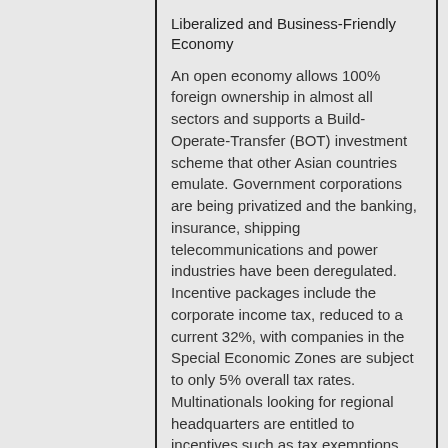Liberalized and Business-Friendly Economy
An open economy allows 100% foreign ownership in almost all sectors and supports a Build-Operate-Transfer (BOT) investment scheme that other Asian countries emulate. Government corporations are being privatized and the banking, insurance, shipping telecommunications and power industries have been deregulated. Incentive packages include the corporate income tax, reduced to a current 32%, with companies in the Special Economic Zones are subject to only 5% overall tax rates. Multinationals looking for regional headquarters are entitled to incentives such as tax exemptions and tax and duty-free importation of specific equipment and materials.
Unlimited business opportunities
As Asian economies integrate within the vast framework of the ASEAN Free Trade Agreement (AFTA), the Philippines is the natural and most strategic location for firms that want access to